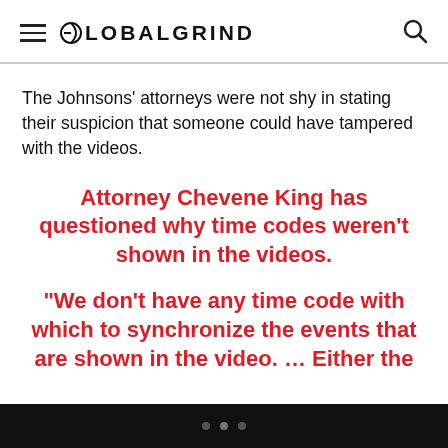GLOBALGRIND
The Johnsons’ attorneys were not shy in stating their suspicion that someone could have tampered with the videos.
Attorney Chevene King has questioned why time codes weren’t shown in the videos.
“We don’t have any time code with which to synchronize the events that are shown in the video. … Either the